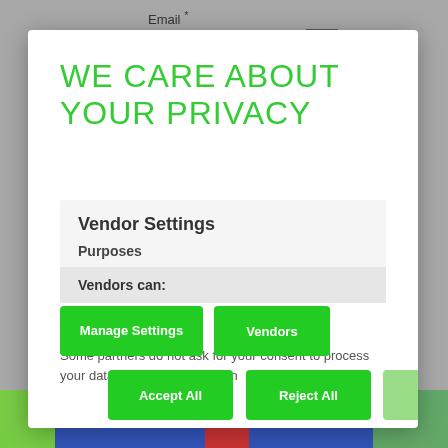Email *
WE CARE ABOUT YOUR PRIVACY
Vendor Settings
Purposes
Vendors can:
Some partners do not ask for your consent to process your data, instead, they rely on
Manage Settings
Vendors
Accept All
Reject All
Save & Exit